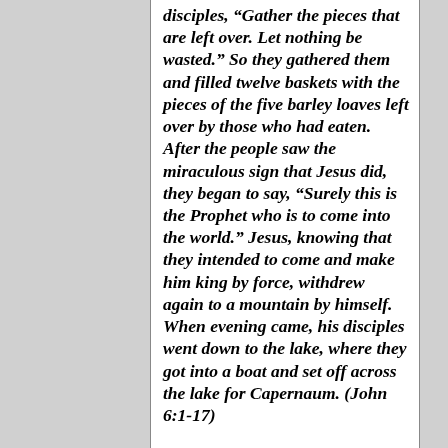disciples, “Gather the pieces that are left over. Let nothing be wasted.” So they gathered them and filled twelve baskets with the pieces of the five barley loaves left over by those who had eaten. After the people saw the miraculous sign that Jesus did, they began to say, “Surely this is the Prophet who is to come into the world.” Jesus, knowing that they intended to come and make him king by force, withdrew again to a mountain by himself. When evening came, his disciples went down to the lake, where they got into a boat and set off across the lake for Capernaum. (John 6:1-17)